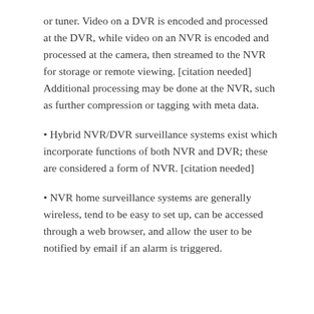or tuner. Video on a DVR is encoded and processed at the DVR, while video on an NVR is encoded and processed at the camera, then streamed to the NVR for storage or remote viewing. [citation needed] Additional processing may be done at the NVR, such as further compression or tagging with meta data.
• Hybrid NVR/DVR surveillance systems exist which incorporate functions of both NVR and DVR; these are considered a form of NVR. [citation needed]
• NVR home surveillance systems are generally wireless, tend to be easy to set up, can be accessed through a web browser, and allow the user to be notified by email if an alarm is triggered.